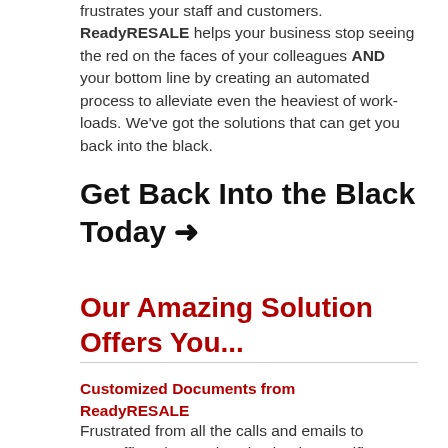frustrates your staff and customers. ReadyRESALE helps your business stop seeing the red on the faces of your colleagues AND your bottom line by creating an automated process to alleviate even the heaviest of work-loads. We've got the solutions that can get you back into the black.
Get Back Into the Black Today →
Our Amazing Solution Offers You...
Customized Documents from ReadyRESALE
Frustrated from all the calls and emails to your office about only using lender specific